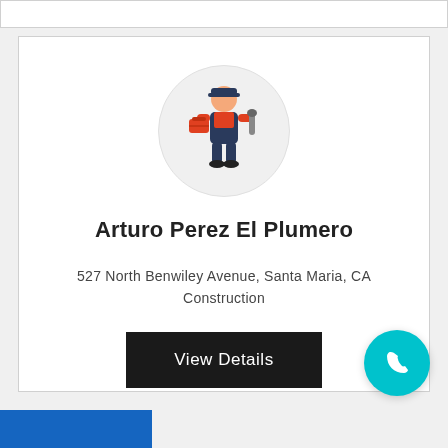[Figure (illustration): Plumber character illustration — a man in blue overalls and red shirt holding a wrench and toolbox, displayed inside a light gray circle avatar]
Arturo Perez El Plumero
527 North Benwiley Avenue, Santa Maria, CA
Construction
View Details
[Figure (other): Teal circular floating action button with a white phone handset icon]